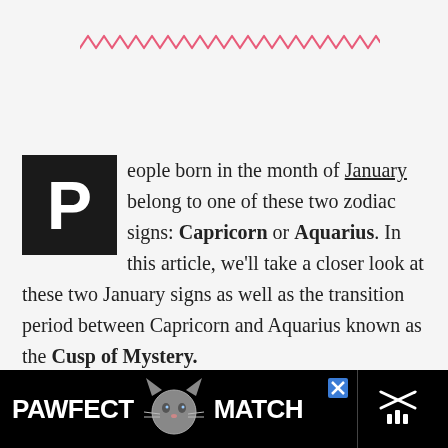[Figure (illustration): Pink zigzag/wavy decorative line across the top of the page]
People born in the month of January belong to one of these two zodiac signs: Capricorn or Aquarius. In this article, we’ll take a closer look at these two January signs as well as the transition period between Capricorn and Aquarius known as the Cusp of Mystery.
[Figure (photo): Advertisement banner for PAWFECT MATCH featuring a cat silhouette logo, displayed at the bottom of the page]